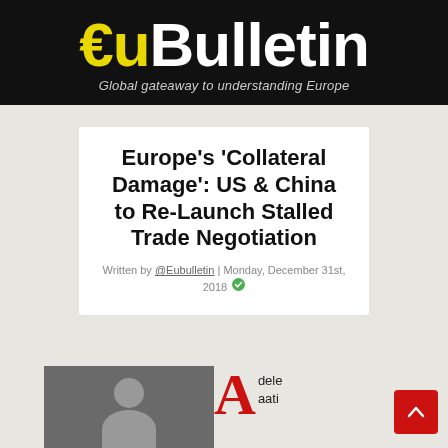€uBulletin — Global gateaway to understanding Europe
Europe's 'Collateral Damage': US & China to Re-Launch Stalled Trade Negotiation
Written by @Eubulletin | Monday, December 31st, 2018
[Figure (photo): Author profile image placeholder with silhouette and dropcap letter A followed by partial author name 'dele' and 'aati']